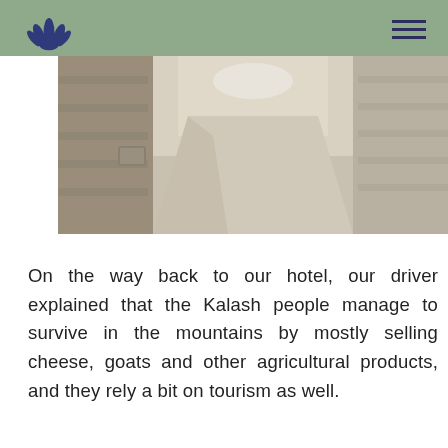[Figure (photo): A narrow stone alley/path between stone walls, photographed from an angle looking down the pathway.]
On the way back to our hotel, our driver explained that the Kalash people manage to survive in the mountains by mostly selling cheese, goats and other agricultural products, and they rely a bit on tourism as well.